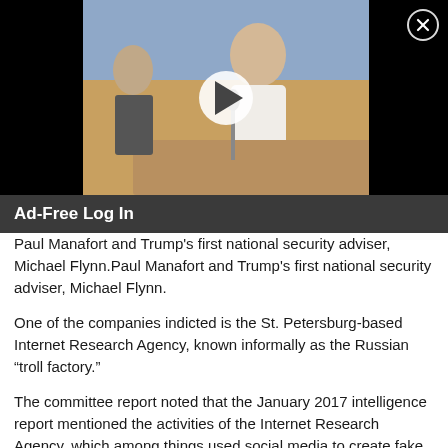[Figure (screenshot): Video thumbnail showing a woman at what appears to be a legislative or committee session, with a play button overlay. Black bars on left and right sides. Close button (X) in upper right corner.]
Ad-Free Log In
Paul Manafort and Trump's first national security adviser, Michael Flynn.
One of the companies indicted is the St. Petersburg-based Internet Research Agency, known informally as the Russian “troll factory.”
The committee report noted that the January 2017 intelligence report mentioned the activities of the Internet Research Agency, which among things used social media to create fake profiles and cause discord and confusion.
However, it said, “the Committee’s investigation has